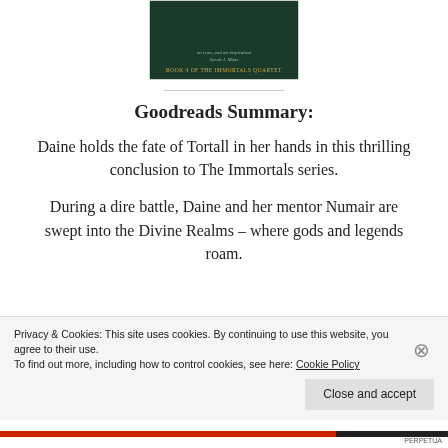[Figure (illustration): Book cover for Book 4 of The Immortals Quartet, dark green background with author name Sarah J. Maas at top and series label at bottom]
Goodreads Summary:
Daine holds the fate of Tortall in her hands in this thrilling conclusion to The Immortals series.
During a dire battle, Daine and her mentor Numair are swept into the Divine Realms – where gods and legends roam.
Privacy & Cookies: This site uses cookies. By continuing to use this website, you agree to their use.
To find out more, including how to control cookies, see here: Cookie Policy